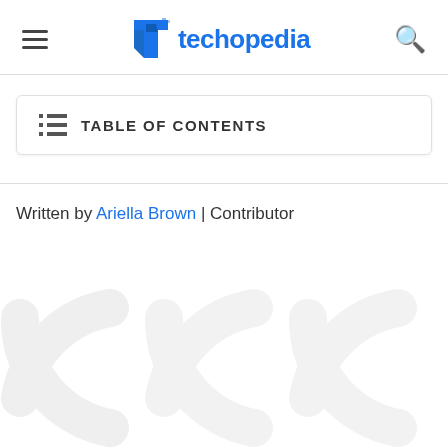techopedia
TABLE OF CONTENTS
Written by Ariella Brown | Contributor
[Figure (illustration): Faint watermark-style circular arrow/chevron graphics in light gray at bottom of page]